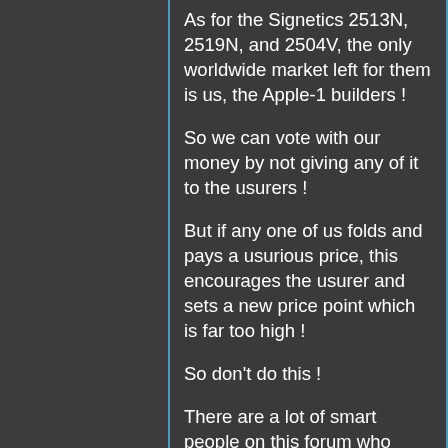As for the Signetics 2513N, 2519N, and 2504V, the only worldwide market left for them is us, the Apple-1 builders !
So we can vote with our money by not giving any of it to the usurers !
But if any one of us folds and pays a usurious price, this encourages the usurer and sets a new price point which is far too high !
So don't do this !
There are a lot of smart people on this forum who have published